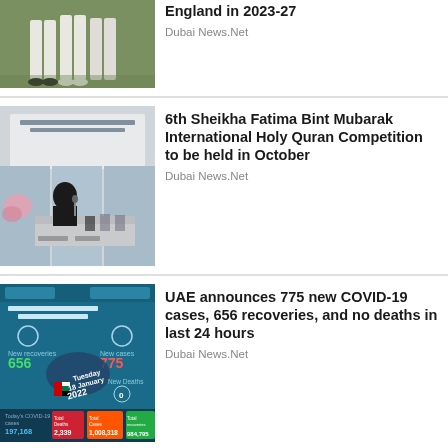[Figure (photo): Cricket players walking on field, legs/whites visible]
England in 2023-27
Dubai News.Net
[Figure (photo): Event stage with Arabic text banner, woman in hijab at podium, floral arrangements]
6th Sheikha Fatima Bint Mubarak International Holy Quran Competition to be held in October
Dubai News.Net
[Figure (infographic): UAE COVID-19 update infographic: New recoveries 656, New cases 775, New Deaths 0, Tuesday 18 January 2022, Total Deaths 2,339, Total Cases 1,008,318, Total Recoveries 984,795]
UAE announces 775 new COVID-19 cases, 656 recoveries, and no deaths in last 24 hours
Dubai News.Net
[Figure (photo): Dark photo, partially visible]
Andre Russell, Sunil Narine,